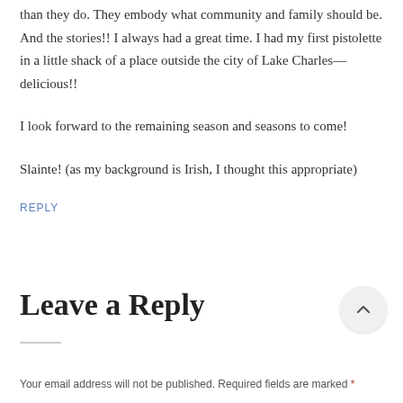than they do. They embody what community and family should be. And the stories!! I always had a great time. I had my first pistolette in a little shack of a place outside the city of Lake Charles—delicious!!

I look forward to the remaining season and seasons to come!

Slainte! (as my background is Irish, I thought this appropriate)
REPLY
Leave a Reply
Your email address will not be published. Required fields are marked *